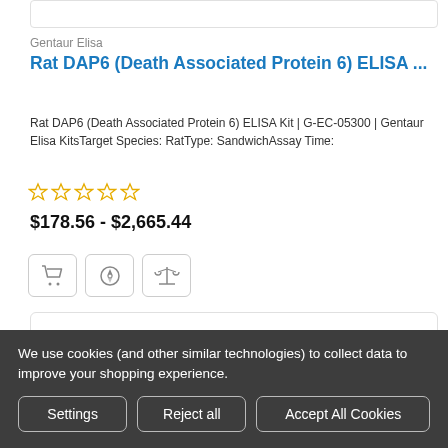Gentaur Elisa
Rat DAP6 (Death Associated Protein 6) ELISA ...
Rat DAP6 (Death Associated Protein 6) ELISA Kit | G-EC-05300 | Gentaur Elisa KitsTarget Species: RatType: SandwichAssay Time:
[Figure (other): Five empty star rating icons in yellow/gold outline]
$178.56 - $2,665.44
[Figure (other): Three icon buttons: shopping cart, compass/location, scales/balance]
[Figure (logo): Partial blue circular logo/icon visible in white card]
We use cookies (and other similar technologies) to collect data to improve your shopping experience.
Settings | Reject all | Accept All Cookies